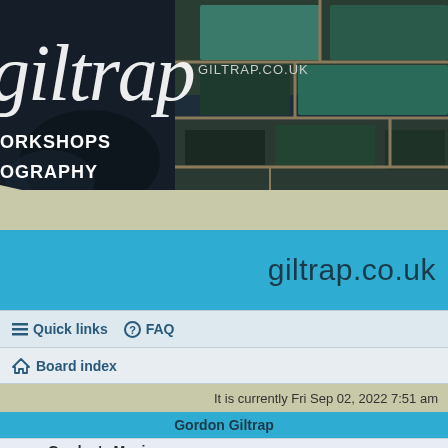[Figure (screenshot): Website header banner for giltrap.co.uk showing a dark photo of stone/brick textures with teal/green colored blocks, overlaid with cursive 'giltrap' logo text in white, 'GILTRAP.CO.UK' subtitle, and partially visible navigation menu items: WORKSHOPS, OGRAPHY, SION]
giltrap.co.uk
≡ Quick links  ? FAQ
⌂ Board index
It is currently Fri Sep 02, 2022 7:51 am
Gordon Giltrap
Gordon's Music
This is the place to post items relating to Gordon and his music in a